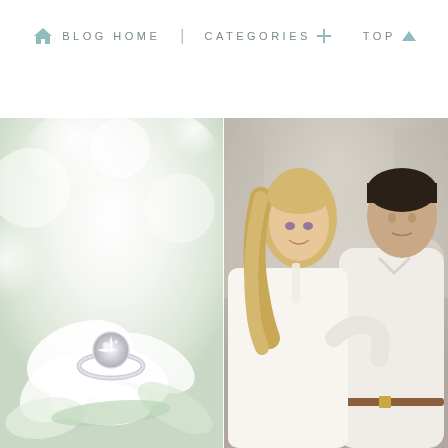BLOG HOME | CATEGORIES + TOP ▲
[Figure (photo): Close-up photo of a diamond engagement ring resting on white flower petals with soft bokeh background]
[Figure (photo): Photo of a smiling blonde woman in a white dress being embraced by a dark-haired man in a white shirt, engagement couple portrait]